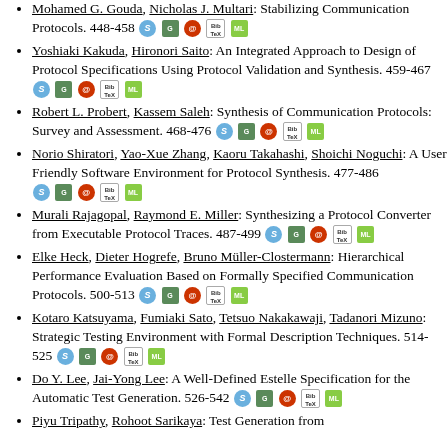Mohamed G. Gouda, Nicholas J. Multari: Stabilizing Communication Protocols. 448-458
Yoshiaki Kakuda, Hironori Saito: An Integrated Approach to Design of Protocol Specifications Using Protocol Validation and Synthesis. 459-467
Robert L. Probert, Kassem Saleh: Synthesis of Communication Protocols: Survey and Assessment. 468-476
Norio Shiratori, Yao-Xue Zhang, Kaoru Takahashi, Shoichi Noguchi: A User Friendly Software Environment for Protocol Synthesis. 477-486
Murali Rajagopal, Raymond E. Miller: Synthesizing a Protocol Converter from Executable Protocol Traces. 487-499
Elke Heck, Dieter Hogrefe, Bruno Müller-Clostermann: Hierarchical Performance Evaluation Based on Formally Specified Communication Protocols. 500-513
Kotaro Katsuyama, Fumiaki Sato, Tetsuo Nakakawaji, Tadanori Mizuno: Strategic Testing Environment with Formal Description Techniques. 514-525
Do Y. Lee, Jai-Yong Lee: A Well-Defined Estelle Specification for the Automatic Test Generation. 526-542
Piyu Tripathy, Rohoot Sarikaya: Test Generation from...